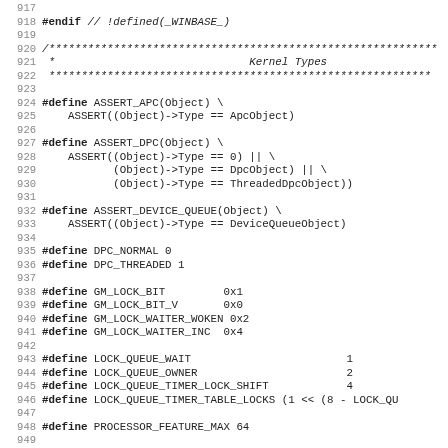Source code listing, lines 917-948, showing C preprocessor definitions for kernel types including ASSERT_APC, ASSERT_DPC, ASSERT_DEVICE_QUEUE, DPC_NORMAL, DPC_THREADED, GM_LOCK_BIT, GM_LOCK_BIT_V, GM_LOCK_WAITER_WOKEN, GM_LOCK_WAITER_INC, LOCK_QUEUE_WAIT, LOCK_QUEUE_OWNER, LOCK_QUEUE_TIMER_LOCK_SHIFT, LOCK_QUEUE_TIMER_TABLE_LOCKS, PROCESSOR_FEATURE_MAX